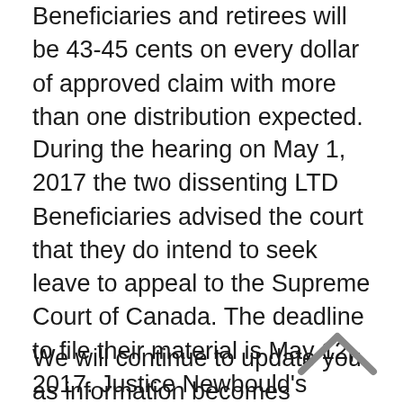Beneficiaries and retirees will be 43-45 cents on every dollar of approved claim with more than one distribution expected.
During the hearing on May 1, 2017 the two dissenting LTD Beneficiaries advised the court that they do intend to seek leave to appeal to the Supreme Court of Canada. The deadline to file their material is May 12, 2017. Justice Newbould's endorsement urges the Supreme Court of Canada to expedite the hearing of the issue.
We will continue to update you as information becomes available. Please continue to check back for updates including information sessions (schedule to be announced) for information about the distribution and taxation